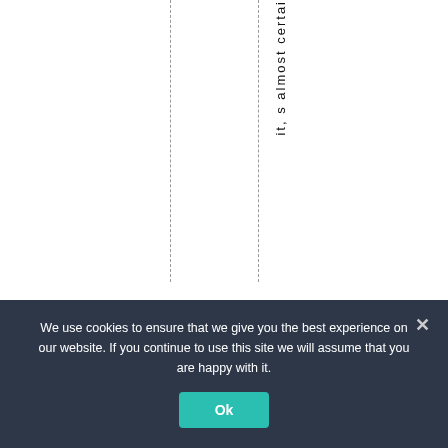[Figure (other): White page background with two vertical dashed lines and vertical text reading 'it, s almost certai' running top to bottom]
it, s almost certai
We use cookies to ensure that we give you the best experience on our website. If you continue to use this site we will assume that you are happy with it.